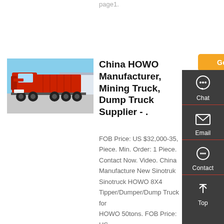page1.
Get a Quote
[Figure (photo): Red HOWO dump truck parked outdoors with blue sky background]
China HOWO Manufacturer, Mining Truck, Dump Truck Supplier - .
FOB Price: US $32,000-35,... Piece. Min. Order: 1 Piece. Contact Now. Video. China Manufacture New Sinotruk Sinotruck HOWO 8X4 Tipper/Dumper/Dump Truck for HOWO 50tons. FOB Price: US